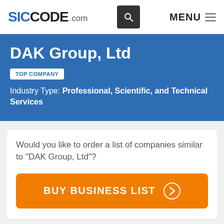SICCODE.com
DAK Group, Ltd
TOP COMPANY
Industry Type: Professional, Scientific, and Technical Services
Would you like to order a list of companies similar to "DAK Group, Ltd"?
BUY BUSINESS LIST